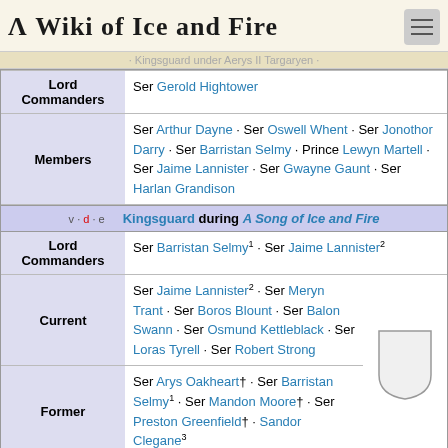A Wiki of Ice and Fire
Kingsguard under Aerys II Targaryen
|  |  |
| --- | --- |
| Lord Commanders | Ser Gerold Hightower |
| Members | Ser Arthur Dayne · Ser Oswell Whent · Ser Jonothor Darry · Ser Barristan Selmy · Prince Lewyn Martell · Ser Jaime Lannister · Ser Gwayne Gaunt · Ser Harlan Grandison |
|  |  |
| --- | --- |
| v·d·e | Kingsguard during A Song of Ice and Fire |
| Lord Commanders | Ser Barristan Selmy¹ · Ser Jaime Lannister² |
| Current | Ser Jaime Lannister² · Ser Meryn Trant · Ser Boros Blount · Ser Balon Swann · Ser Osmund Kettleblack · Ser Loras Tyrell · Ser Robert Strong |
| Former | Ser Arys Oakheart† · Ser Barristan Selmy¹ · Ser Mandon Moore† · Ser Preston Greenfield† · Sandor Clegane³ |
¹ Dismissed due to old age · ² Promoted to Lord Commander · ³ Quit
| v·d·e | Known Lords Commander of the Kingsguard | [Expand] |
| --- | --- | --- |
| v·d·e | The small council under Joffrey I Baratheon | [Expand] |
| --- | --- | --- |